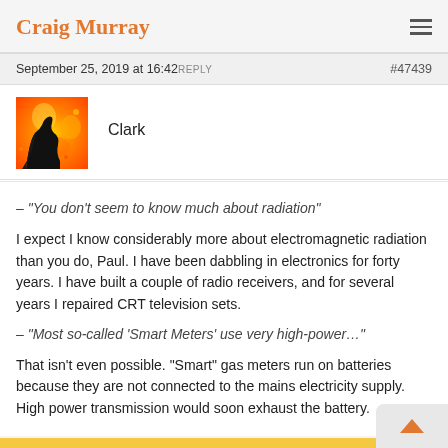Craig Murray
September 25, 2019 at 16:42 REPLY   #47439
Clark
– "You don't seem to know much about radiation"
I expect I know considerably more about electromagnetic radiation than you do, Paul. I have been dabbling in electronics for forty years. I have built a couple of radio receivers, and for several years I repaired CRT television sets.
– "Most so-called ‘Smart Meters’ use very high-power…"
That isn’t even possible. “Smart” gas meters run on batteries because they are not connected to the mains electricity supply. High power transmission would soon exhaust the battery.